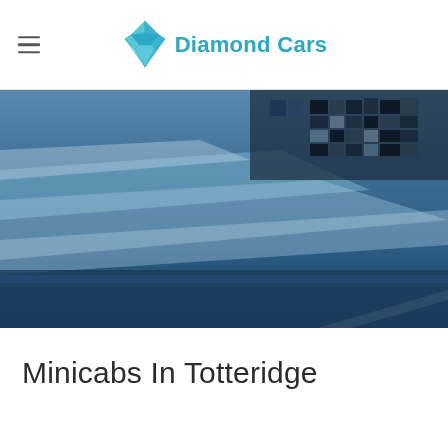Diamond Cars
[Figure (photo): Blurred/pixelated photo of a blue car, predominantly blue tones with some dark areas in the upper right portion suggesting the car's body and windows.]
Minicabs In Totteridge